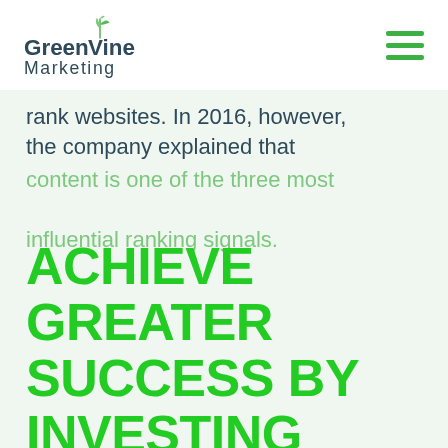[Figure (logo): Green Vine Marketing logo with green leaf/vine graphic above the text]
[Figure (other): Hamburger menu icon with three green horizontal lines]
rank websites. In 2016, however, the company explained that content is one of the three most influential ranking signals.
ACHIEVE GREATER SUCCESS BY INVESTING IN BOTH SERVICES